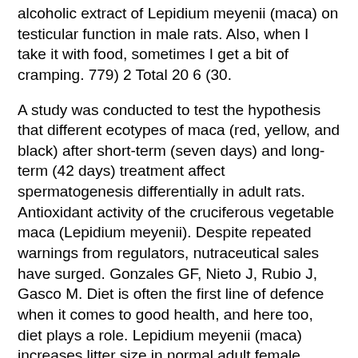alcoholic extract of Lepidium meyenii (maca) on testicular function in male rats. Also, when I take it with food, sometimes I get a bit of cramping. 779) 2 Total 20 6 (30.
A study was conducted to test the hypothesis that different ecotypes of maca (red, yellow, and black) after short-term (seven days) and long-term (42 days) treatment affect spermatogenesis differentially in adult rats. Antioxidant activity of the cruciferous vegetable maca (Lepidium meyenii). Despite repeated warnings from regulators, nutraceutical sales have surged. Gonzales GF, Nieto J, Rubio J, Gasco M. Diet is often the first line of defence when it comes to good health, and here too, diet plays a role. Lepidium meyenii (maca) increases litter size in normal adult female mice. Gonzales GF, Cordova A, Gonzales C